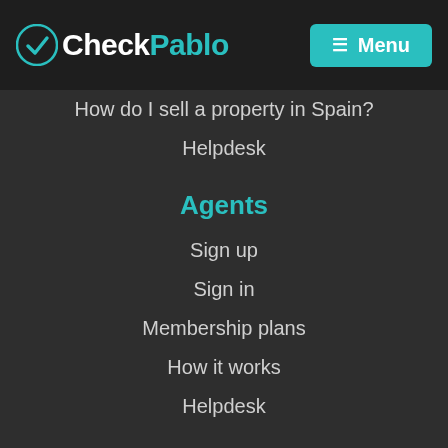CheckPablo — Menu
How do I sell a property in Spain?
Helpdesk
Agents
Sign up
Sign in
Membership plans
How it works
Helpdesk
Go to
Andalusia property for sale
Canary Islands property for sale
Costa Blanca property for sale
Costa Brava property for sale